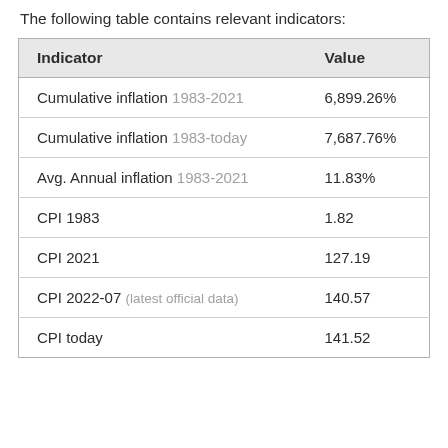The following table contains relevant indicators:
| Indicator | Value |
| --- | --- |
| Cumulative inflation 1983-2021 | 6,899.26% |
| Cumulative inflation 1983-today | 7,687.76% |
| Avg. Annual inflation 1983-2021 | 11.83% |
| CPI 1983 | 1.82 |
| CPI 2021 | 127.19 |
| CPI 2022-07 (latest official data) | 140.57 |
| CPI today | 141.52 |